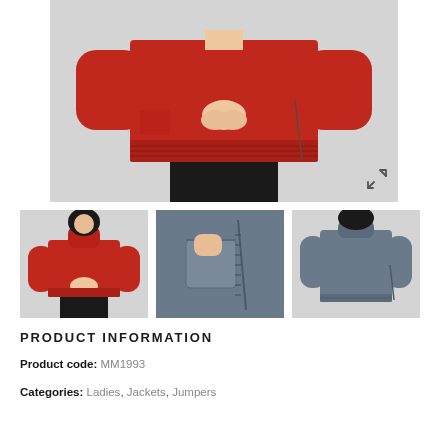[Figure (photo): Main product photo showing a woman wearing a red turtleneck wool jumper with a side zipper detail, cropped at waist, grey background. Expand icon in bottom-right corner.]
[Figure (photo): Thumbnail 1: Woman wearing red turtleneck jumper, full upper body view, grey background.]
[Figure (photo): Thumbnail 2: Close-up of grey jumper pocket and side zipper detail.]
[Figure (photo): Thumbnail 3: Back view of woman wearing grey turtleneck jumper.]
PRODUCT INFORMATION
Product code: MM1993
Categories: Ladies, Jackets, Jumpers